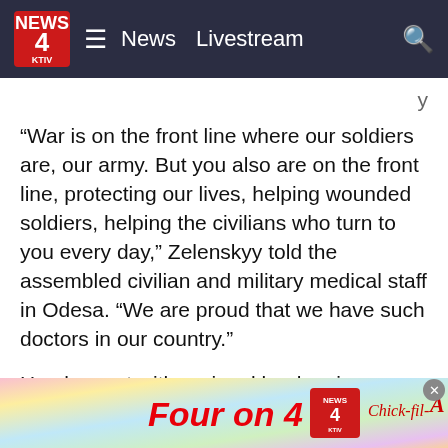News   Livestream
“War is on the front line where our soldiers are, our army. But you also are on the front line, protecting our lives, helping wounded soldiers, helping the civilians who turn to you every day,” Zelenskyy told the assembled civilian and military medical staff in Odesa. “We are proud that we have such doctors in our country.”
He also met with regional leaders in Mykolaiv and Odesa and went with them to see buildings that had been destroyed in Russian attacks that took the lives of many civilians.
In other developments Saturday, British Prime Minister Boris Johnson expressed concerns “that a bit of Ukraine fatigue…d Ukraine
[Figure (other): Advertisement banner: Four on 4 with News 4 KTIV logo and Chick-fil-A logo on colorful background]